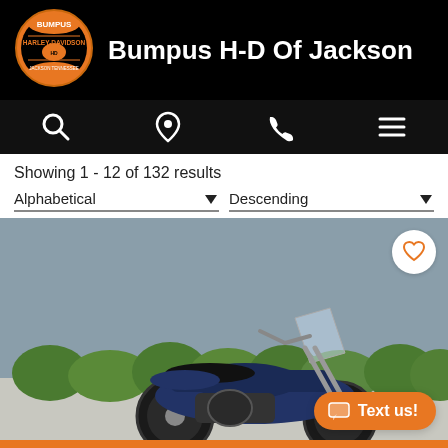[Figure (logo): Bumpus Harley-Davidson circular logo with orange and black colors]
Bumpus H-D Of Jackson
[Figure (infographic): Navigation bar with search, location, phone, and menu icons on black background]
Showing 1 - 12 of 132 results
Alphabetical ▼
Descending ▼
[Figure (photo): A Harley-Davidson motorcycle parked outdoors in front of green bushes and a grey wall]
Filter by